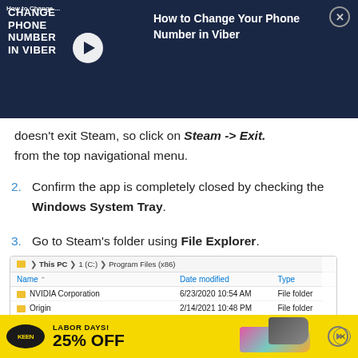[Figure (screenshot): Video ad banner: 'How to Change Your Phone Number in Viber' with play button thumbnail on dark navy background, close button top right, Alphr branding]
doesn't exit Steam, so click on Steam -> Exit. from the top navigational menu.
2. Confirm the app is completely closed by checking the Windows System Tray.
3. Go to Steam's folder using File Explorer.
[Figure (screenshot): Windows File Explorer window showing path: This PC > 1 (C:) > Program Files (x86), with folders: NVIDIA Corporation (6/23/2020 10:54 AM), Origin (2/14/2021 10:48 PM), Origin Games (2/14/2021 11:05 PM), Pattern (8/24/2019 6:28 PM)]
[Figure (screenshot): Bottom advertisement banner: KEEN brand logo, LABOR DAYS! 25% OFF, shoe imagery, yellow background]